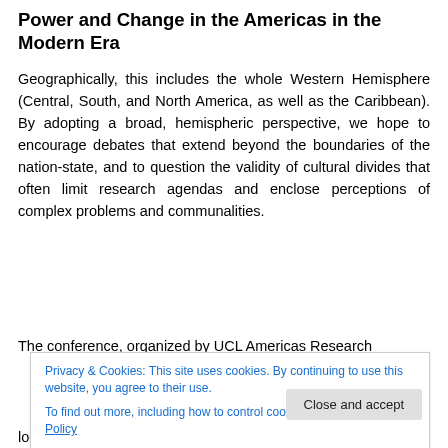Power and Change in the Americas in the Modern Era
Geographically, this includes the whole Western Hemisphere (Central, South, and North America, as well as the Caribbean). By adopting a broad, hemispheric perspective, we hope to encourage debates that extend beyond the boundaries of the nation-state, and to question the validity of cultural divides that often limit research agendas and enclose perceptions of complex problems and communalities.
The conference, organized by UCL Americas Research
Privacy & Cookies: This site uses cookies. By continuing to use this website, you agree to their use.
To find out more, including how to control cookies, see here: Cookie Policy
local topics and those whose focus is comparative,